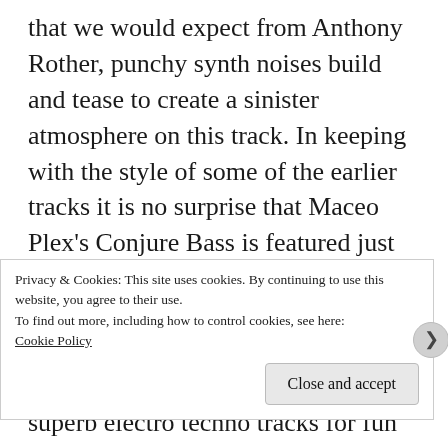that we would expect from Anthony Rother, punchy synth noises build and tease to create a sinister atmosphere on this track. In keeping with the style of some of the earlier tracks it is no surprise that Maceo Plex's Conjure Bass is featured just after the half way point of the mix. This track is one of many of the amazing production line that Maceo Plex has, he manages to churn out superb electro techno tracks for fun and Conjure Bass is up there
Privacy & Cookies: This site uses cookies. By continuing to use this website, you agree to their use.
To find out more, including how to control cookies, see here: Cookie Policy
Close and accept